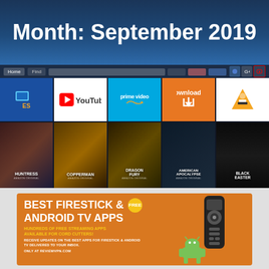Month: September 2019
[Figure (screenshot): Amazon Fire TV Stick interface showing app icons (ES File Explorer, YouTube, Prime Video, Downloader, VLC) and movie thumbnails (Huntress, Copperman, Dragon Fury, American Apocalypse, Black Easter)]
[Figure (infographic): Orange promotional banner: BEST FIRESTICK & ANDROID TV APPS - FREE badge - Hundreds of free streaming apps available for cord cutters! Receive updates on the best apps for Firestick & Android TV delivered to your inbox. Only at ReviewVPN.com. Shows Fire TV remote and Android robot logo.]